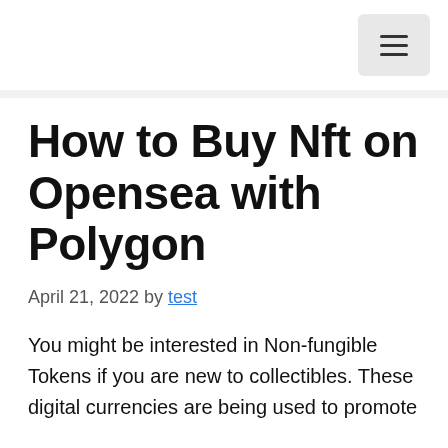≡
How to Buy Nft on Opensea with Polygon
April 21, 2022 by test
You might be interested in Non-fungible Tokens if you are new to collectibles. These digital currencies are being used to promote